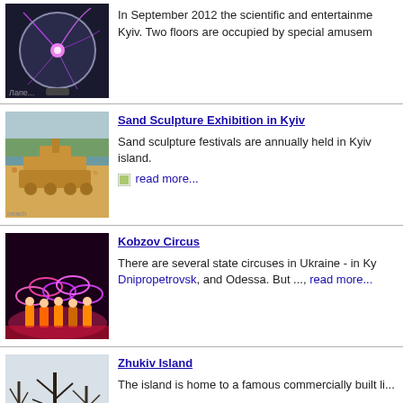[Figure (photo): Plasma globe science exhibit photo]
In September 2012 the scientific and entertainment center opened in Kyiv. Two floors are occupied by special amusem...
[Figure (photo): Sand sculpture of a tank or vehicle on a beach]
Sand Sculpture Exhibition in Kyiv
Sand sculpture festivals are annually held in Kyiv on the island.
read more...
[Figure (photo): Circus performers with hula hoops in colorful costumes]
Kobzov Circus
There are several state circuses in Ukraine - in Ky... Dnipropetrovsk, and Odessa. But ..., read more...
[Figure (photo): Winter trees on Zhukiv Island]
Zhukiv Island
The island is home to a famous commercially built li...